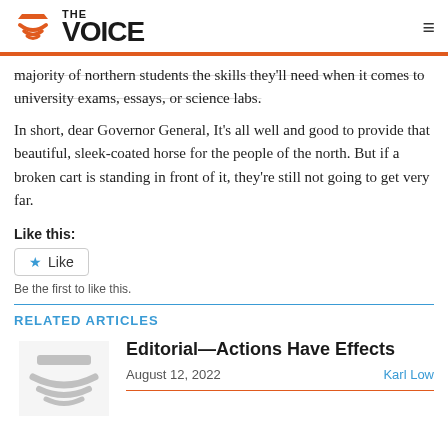THE VOICE
majority of northern students the skills they'll need when it comes to university exams, essays, or science labs.
In short, dear Governor General, It's all well and good to provide that beautiful, sleek-coated horse for the people of the north. But if a broken cart is standing in front of it, they're still not going to get very far.
Like this:
[Figure (other): Like button widget with star icon and 'Be the first to like this' text]
RELATED ARTICLES
[Figure (logo): The Voice logo placeholder thumbnail in grey]
Editorial—Actions Have Effects
August 12, 2022   Karl Low